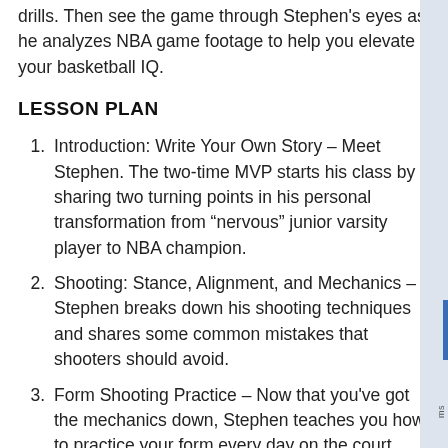drills. Then see the game through Stephen's eyes as he analyzes NBA game footage to help you elevate your basketball IQ.
LESSON PLAN
Introduction: Write Your Own Story – Meet Stephen. The two-time MVP starts his class by sharing two turning points in his personal transformation from “nervous” junior varsity player to NBA champion.
Shooting: Stance, Alignment, and Mechanics – Stephen breaks down his shooting techniques and shares some common mistakes that shooters should avoid.
Form Shooting Practice – Now that you've got the mechanics down, Stephen teaches you how to practice your form every day on the court.
Shooting off the Catch – Adding the catch to your mechanics puts you in a position to score